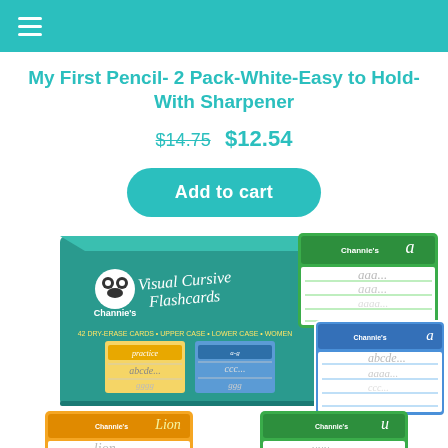≡ (navigation menu)
My First Pencil- 2 Pack-White-Easy to Hold-With Sharpener
$14.75  $12.54
Add to cart
[Figure (photo): Product photo showing Channie's Visual Cursive Flashcards box set with sample flashcards fanned out showing cursive letter practice cards in green, blue, orange, and green colors.]